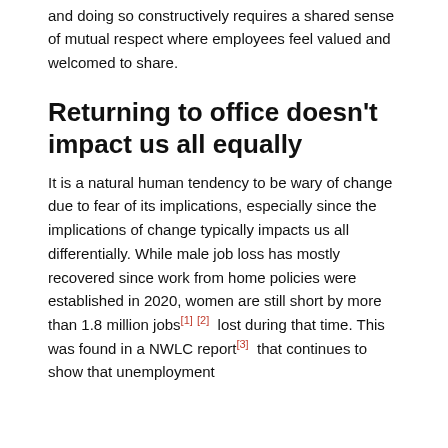and doing so constructively requires a shared sense of mutual respect where employees feel valued and welcomed to share.
Returning to office doesn't impact us all equally
It is a natural human tendency to be wary of change due to fear of its implications, especially since the implications of change typically impacts us all differentially. While male job loss has mostly recovered since work from home policies were established in 2020, women are still short by more than 1.8 million jobs[1] [2]  lost during that time. This was found in a NWLC report[3]  that continues to show that unemployment